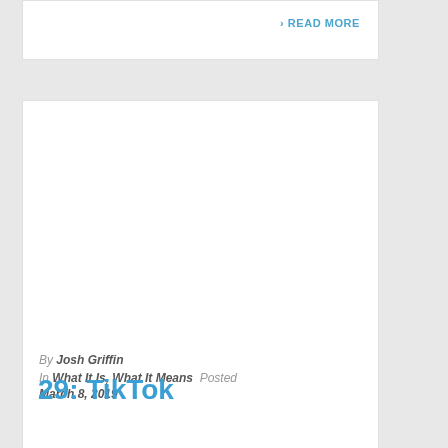READ MORE
[Figure (photo): White image placeholder area in article card]
By Josh Griffin
In What It Is, What It Means  Posted March 8, 2019
29: TikTok